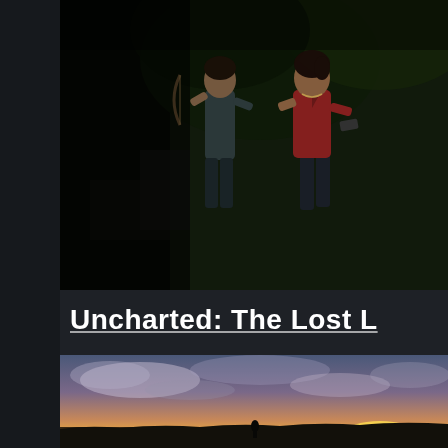[Figure (illustration): Game artwork showing two female characters standing back-to-back in a jungle/ruins environment, one holding a bow. Dark background with green foliage. This is art from Uncharted: The Lost Legacy.]
Uncharted: The Lost L
[Figure (photo): Scenic landscape photo showing a dramatic sunset or sunrise with orange/pink sky, clouds, and silhouetted terrain. Appears to be a coastal or open field scene.]